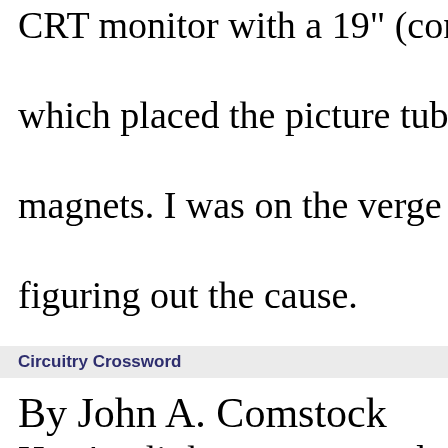CRT monitor with a 19" (considered h which placed the picture tube very clo magnets. I was on the verge of returni figuring out the cause.
Circuitry Crossword
By John A. Comstock
Here's a little teaser to try during the c All you active radio and TV technician